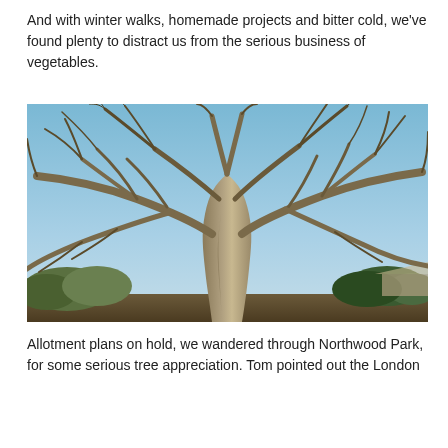And with winter walks, homemade projects and bitter cold, we've found plenty to distract us from the serious business of vegetables.
[Figure (photo): A large bare deciduous tree photographed in winter against a blue sky, with shrubs and a building visible in the background at Northwood Park.]
Allotment plans on hold, we wandered through Northwood Park, for some serious tree appreciation. Tom pointed out the London